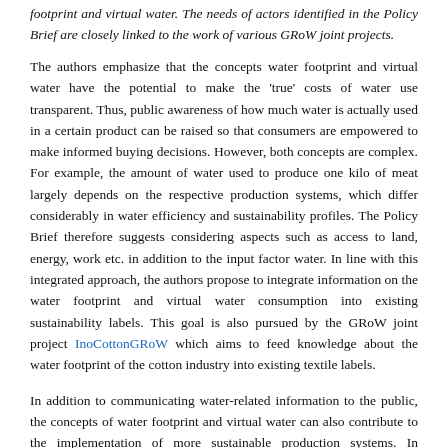footprint and virtual water. The needs of actors identified in the Policy Brief are closely linked to the work of various GRoW joint projects.
The authors emphasize that the concepts water footprint and virtual water have the potential to make the 'true' costs of water use transparent. Thus, public awareness of how much water is actually used in a certain product can be raised so that consumers are empowered to make informed buying decisions. However, both concepts are complex. For example, the amount of water used to produce one kilo of meat largely depends on the respective production systems, which differ considerably in water efficiency and sustainability profiles. The Policy Brief therefore suggests considering aspects such as access to land, energy, work etc. in addition to the input factor water. In line with this integrated approach, the authors propose to integrate information on the water footprint and virtual water consumption into existing sustainability labels. This goal is also pursued by the GRoW joint project InoCottonGRoW which aims to feed knowledge about the water footprint of the cotton industry into existing textile labels.
In addition to communicating water-related information to the public, the concepts of water footprint and virtual water can also contribute to the implementation of more sustainable production systems. In agriculture, for example, they can reinforce practices and crop choices that fit local hydrological conditions. However, the authors urge to take geopolitical and ethical aspects into account, since the reduction of